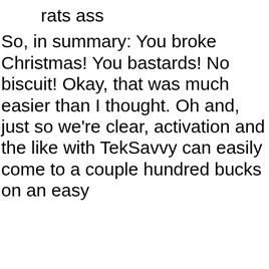rats ass
So, in summary: You broke Christmas! You bastards! No biscuit! Okay, that was much easier than I thought. Oh and, just so we're clear, activation and the like with TekSavvy can easily come to a couple hundred bucks on an easy